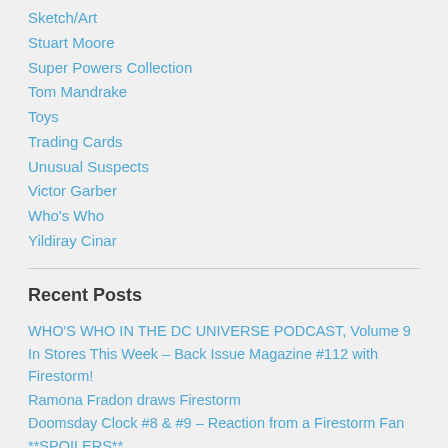Sketch/Art
Stuart Moore
Super Powers Collection
Tom Mandrake
Toys
Trading Cards
Unusual Suspects
Victor Garber
Who's Who
Yildiray Cinar
Recent Posts
WHO'S WHO IN THE DC UNIVERSE PODCAST, Volume 9
In Stores This Week – Back Issue Magazine #112 with Firestorm!
Ramona Fradon draws Firestorm
Doomsday Clock #8 & #9 – Reaction from a Firestorm Fan **SPOILERS**
Super Friends Firestorm Debut – FIRE & WATER #227
Recent Comments
Netministrator on Power Girl and Firestorm Sitting in a Tree